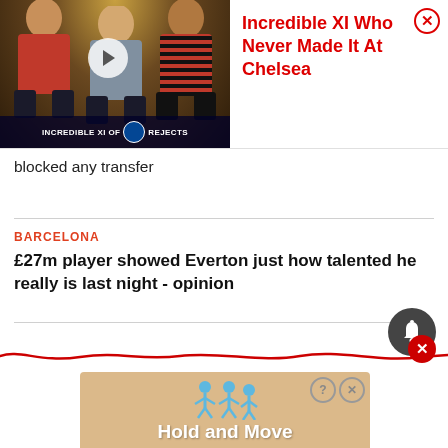[Figure (screenshot): Video thumbnail for 'Incredible XI Of Chelsea Rejects' featuring three football players, with a play button overlay]
Incredible XI Who Never Made It At Chelsea
blocked any transfer
BARCELONA
£27m player showed Everton just how talented he really is last night - opinion
[Figure (illustration): Red wavy decorative line with a red close (X) button]
[Figure (screenshot): Bottom advertisement banner showing 'Hold and Move' game with stick figures and a peach/tan background]